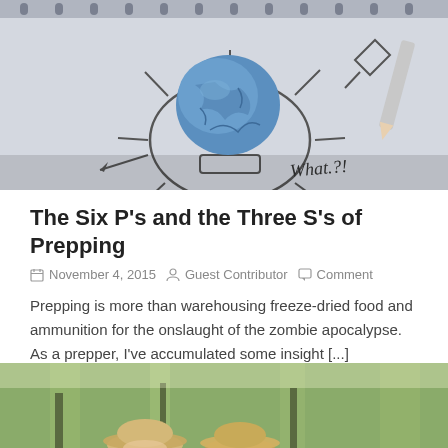[Figure (photo): Photo of a crumpled blue paper ball placed on a hand-drawn lightbulb sketch on paper, with a pencil visible at right, and 'What?!' written in handwriting]
The Six P's and the Three S's of Prepping
November 4, 2015  Guest Contributor  Comment
Prepping is more than warehousing freeze-dried food and ammunition for the onslaught of the zombie apocalypse. As a prepper, I've accumulated some insight [...]
[Figure (photo): Photo of people wearing straw hats outdoors in a forested area]